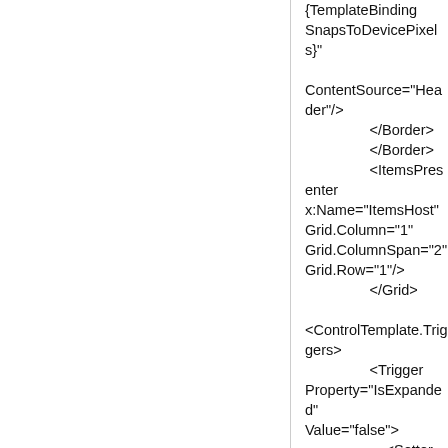{TemplateBinding SnapsToDevicePixels}"

ContentSource="Header"/>
                    </Border>
                    </Border>
                    <ItemsPresenter
x:Name="ItemsHost"
Grid.Column="1"
Grid.ColumnSpan="2"
Grid.Row="1"/>
                    </Grid>

<ControlTemplate.Triggers>
                    <Trigger
Property="IsExpanded"
Value="false">
                        <Setter
Property="Visibility"
TargetName="ItemsHost"
Value="Collapsed"/>
                    </Trigger>
                    <Trigger